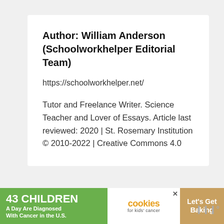Author: William Anderson (Schoolworkhelper Editorial Team)
https://schoolworkhelper.net/
Tutor and Freelance Writer. Science Teacher and Lover of Essays. Article last reviewed: 2020 | St. Rosemary Institution © 2010-2022 | Creative Commons 4.0
[Figure (other): Advertisement banner: '43 CHILDREN A Day Are Diagnosed With Cancer in the U.S.' with cookies for kids' cancer logo and 'Let's Get Baking' text on a green and beige background.]